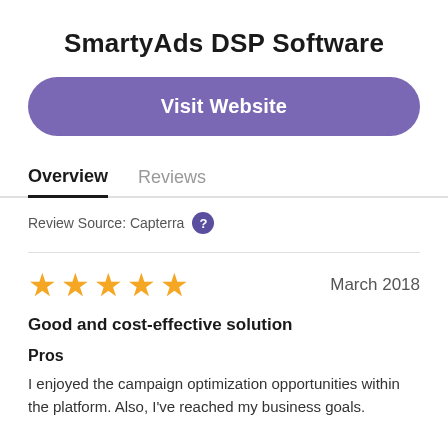SmartyAds DSP Software
Visit Website
Overview
Reviews
Review Source: Capterra ?
March 2018
Good and cost-effective solution
Pros
I enjoyed the campaign optimization opportunities within the platform. Also, I've reached my business goals.